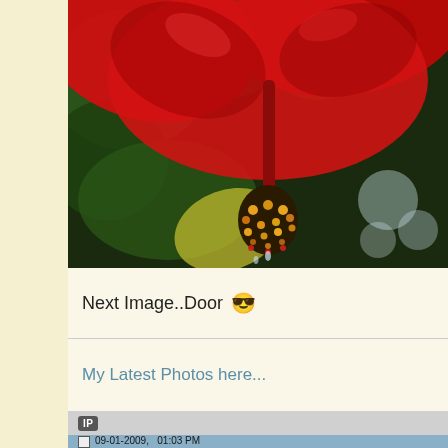[Figure (photo): Close-up photo of a red hibiscus flower with yellow-orange stamens, against a blurred green and bokeh background]
Next Image..Door 😎
My Latest Photos here...
IP
09-01-2009,   01:03 PM